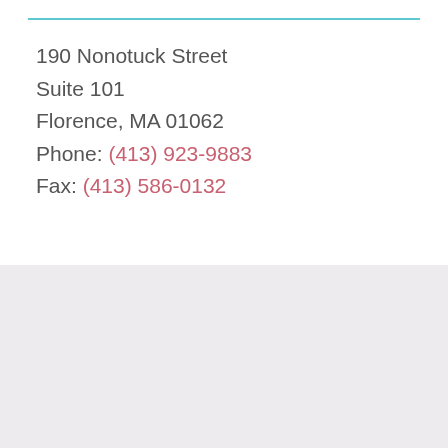190 Nonotuck Street
Suite 101
Florence, MA 01062
Phone: (413) 923-9883
Fax: (413) 586-0132
[Figure (logo): Modestow Family Dentistry logo with a purple circle containing the letter M and the practice name]
Phone: (413) 923-9883
Fax: (413) 586-0132